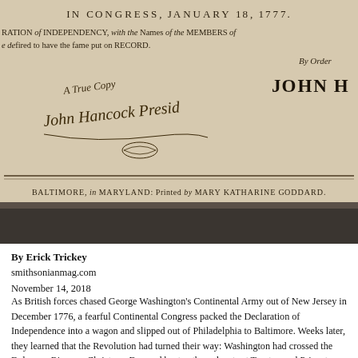[Figure (photo): Scanned historical document showing bottom portion of a printed page dated 'In Congress, January 18, 1777.' with partial text about DECLARATION of INDEPENDENCY and names of MEMBERS, along with 'By Order' and 'JOHN H[ANCOCK]' printed text. A handwritten note reads 'A True Copy' and John Hancock's cursive signature appears below, with a flourish and paraph. At the bottom: 'BALTIMORE, in MARYLAND: Printed by MARY KATHARINE GODDARD.']
By Erick Trickey
smithsonianmag.com
November 14, 2018
As British forces chased George Washington's Continental Army out of New Jersey in December 1776, a fearful Continental Congress packed the Declaration of Independence into a wagon and slipped out of Philadelphia to Baltimore. Weeks later, they learned that the Revolution had turned their way: Washington had crossed the Delaware River on Christmas Day and beaten the redcoats at Trenton and Princeton. Emboldened, the members of Congress ordered a second printing of the Declaration – and, for the first time, printed their names on it.